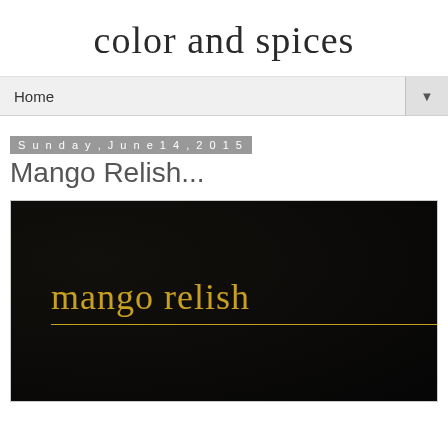color and spices
Home ▼
Sunday, June 14, 2015
Mango Relish...
[Figure (photo): Dark background with gold cursive script reading 'mango relish' with a gold horizontal line beneath the text]